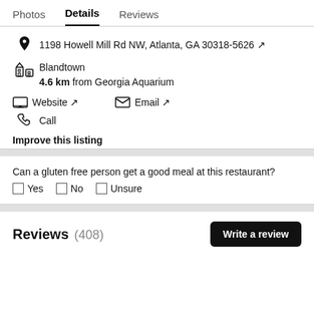Photos  Details  Reviews
1198 Howell Mill Rd NW, Atlanta, GA 30318-5626 ↗
Blandtown
4.6 km from Georgia Aquarium
Website ↗   Email ↗
Call
Improve this listing
Can a gluten free person get a good meal at this restaurant?
☐ Yes  ☐ No  ☐ Unsure
Reviews (408)  Write a review